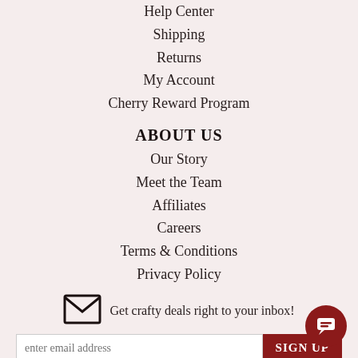Help Center
Shipping
Returns
My Account
Cherry Reward Program
ABOUT US
Our Story
Meet the Team
Affiliates
Careers
Terms & Conditions
Privacy Policy
Get crafty deals right to your inbox!
enter email address
SIGN UP
And now to your phone too!
SIGN UP